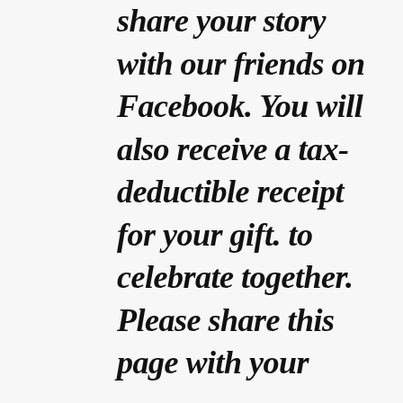share your story with our friends on Facebook. You will also receive a tax-deductible receipt for your gift. to celebrate together. Please share this page with your